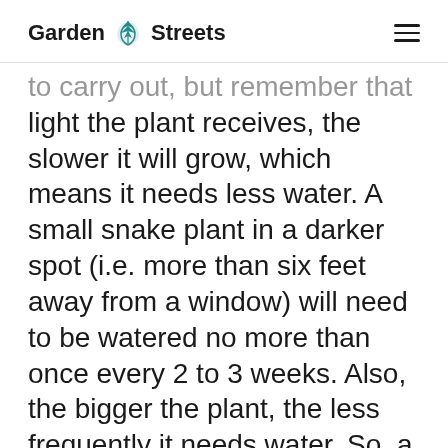Garden Streets
light the plant receives, the slower it will grow, which means it needs less water. A small snake plant in a darker spot (i.e. more than six feet away from a window) will need to be watered no more than once every 2 to 3 weeks. Also, the bigger the plant, the less frequently it needs water. So, a large snake plant in a 10” pot might only need water once every 3 to 4 weeks! That said, all plants need light to make food via photosynthesis, so if you have